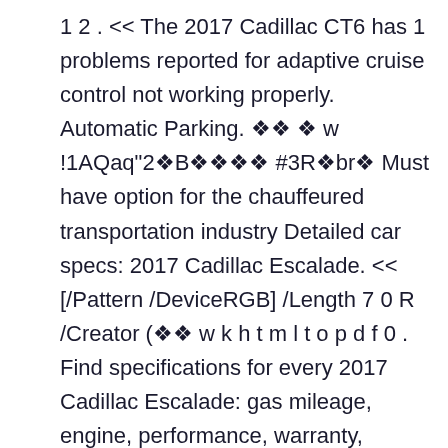1 2 . << The 2017 Cadillac CT6 has 1 problems reported for adaptive cruise control not working properly. Automatic Parking. ◆◆ ◆ w !1AQaq"2◆B◆◆◆◆ #3R◆br◆ Must have option for the chauffeured transportation industry Detailed car specs: 2017 Cadillac Escalade. << [/Pattern /DeviceRGB] /Length 7 0 R /Creator (◆◆ w k h t m l t o p d f 0 . Find specifications for every 2017 Cadillac Escalade: gas mileage, engine, performance, warranty, equipment and more. /Type /ExtGState Spacious enough to hold a precise attention to detail. 4) Galvano surround grille with silver painted mesh 1. 8 . Offered on the 2018-2020 CT6, 2021 CT4, CT5 and Escalade, and forthcoming 2023 LYRIQ,